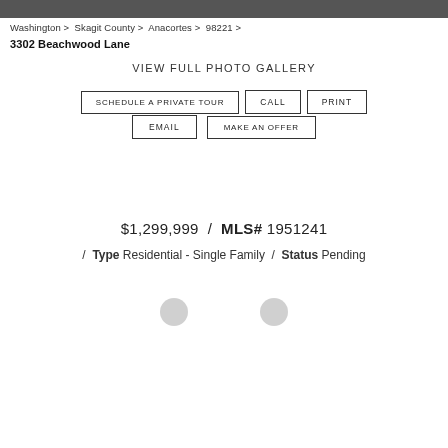[Figure (photo): Property photo bar at top of page]
Washington > Skagit County > Anacortes > 98221 >
3302 Beachwood Lane
VIEW FULL PHOTO GALLERY
SCHEDULE A PRIVATE TOUR
CALL
PRINT
EMAIL
MAKE AN OFFER
$1,299,999 / MLS# 1951241
/ Type Residential - Single Family / Status Pending